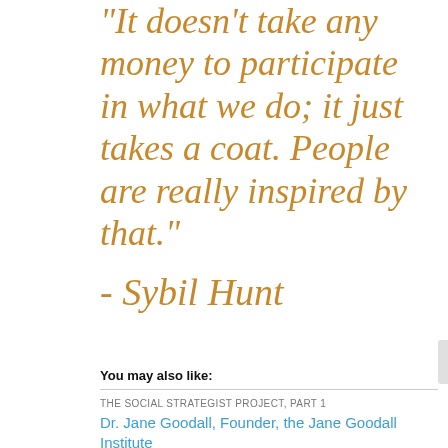"It doesn't take any money to participate in what we do; it just takes a coat. People are really inspired by that."
- Sybil Hunt
You may also like:
THE SOCIAL STRATEGIST PROJECT, PART 1
Dr. Jane Goodall, Founder, the Jane Goodall Institute